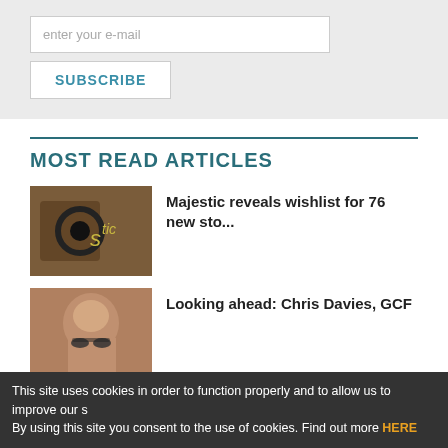enter your e-mail
SUBSCRIBE
MOST READ ARTICLES
[Figure (photo): Majestic wine store sign]
Majestic reveals wishlist for 76 new sto...
[Figure (photo): Portrait of Chris Davies, GCF, man with glasses]
Looking ahead: Chris Davies, GCF
[Figure (photo): Grape vines with grapes, early harvest scene]
Early harvest in Roussillon after July h...
This site uses cookies in order to function properly and to allow us to improve our s By using this site you consent to the use of cookies. Find out more HERE